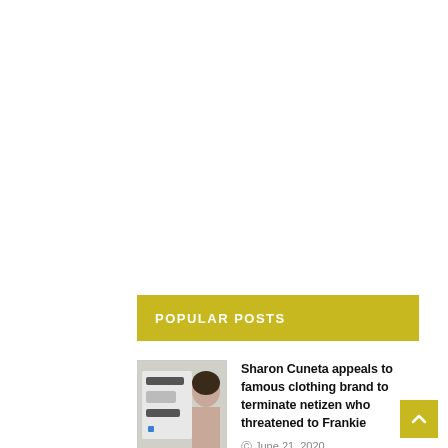POPULAR POSTS
[Figure (photo): Thumbnail image showing a woman's face on the right and a chat screenshot on the left]
Sharon Cuneta appeals to famous clothing brand to terminate netizen who threatened to Frankie
June 21, 2020